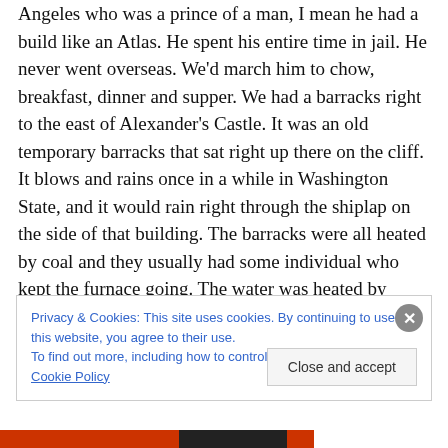Angeles who was a prince of a man, I mean he had a build like an Atlas. He spent his entire time in jail. He never went overseas. We'd march him to chow, breakfast, dinner and supper. We had a barracks right to the east of Alexander's Castle. It was an old temporary barracks that sat right up there on the cliff. It blows and rains once in a while in Washington State, and it would rain right through the shiplap on the side of that building. The barracks were all heated by coal and they usually had some individual who kept the furnace going. The water was heated by going through the system of a boiler. It was very primitive.
Privacy & Cookies: This site uses cookies. By continuing to use this website, you agree to their use.
To find out more, including how to control cookies, see here: Cookie Policy